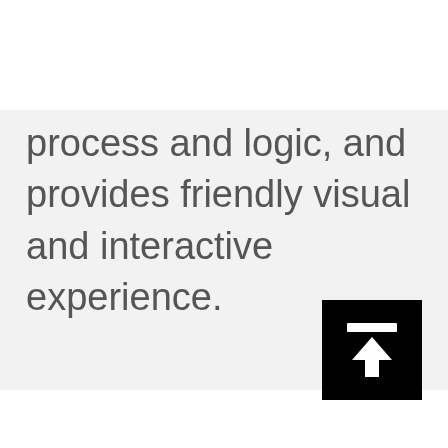process and logic, and provides friendly visual and interactive experience.
[Figure (other): Black square icon with a white horizontal bar at the top and a white upward-pointing arrow below it, resembling an upload or scroll-to-top button.]